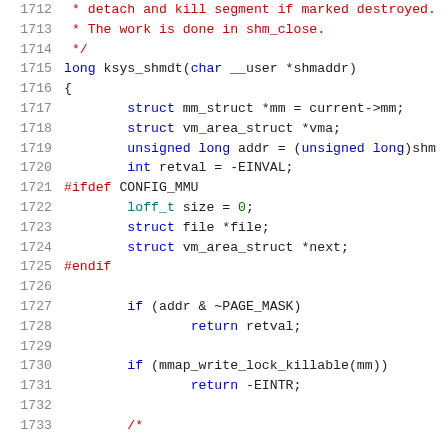[Figure (screenshot): Source code listing showing lines 1712-1732+ of a C file implementing ksys_shmdt function, with syntax highlighting: line numbers in grey, comments in red, keywords in blue, types in teal/blue, values in green, preprocessor directives in dark.]